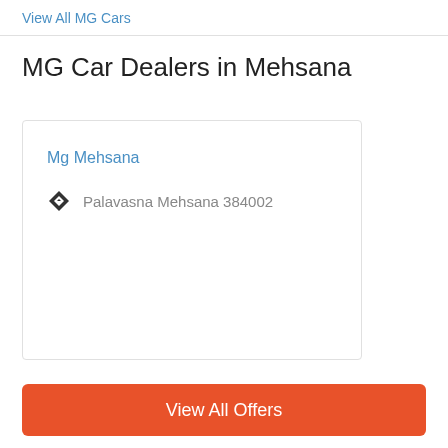View All MG Cars
MG Car Dealers in Mehsana
Mg Mehsana
Palavasna Mehsana 384002
View All Offers